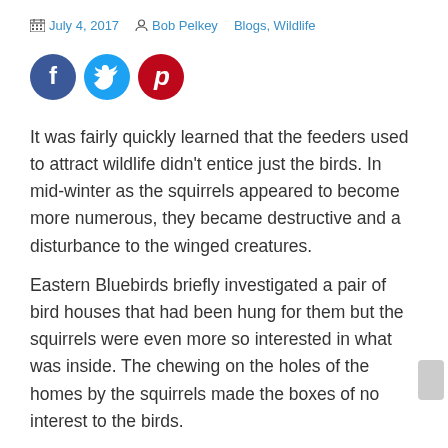July 4, 2017  Bob Pelkey  Blogs, Wildlife
[Figure (infographic): Social media share icons: Facebook (blue circle with f), Twitter (light blue circle with bird), Pinterest (red circle with P)]
It was fairly quickly learned that the feeders used to attract wildlife didn't entice just the birds. In mid-winter as the squirrels appeared to become more numerous, they became destructive and a disturbance to the winged creatures.
Eastern Bluebirds briefly investigated a pair of bird houses that had been hung for them but the squirrels were even more so interested in what was inside. The chewing on the holes of the homes by the squirrels made the boxes of no interest to the birds.